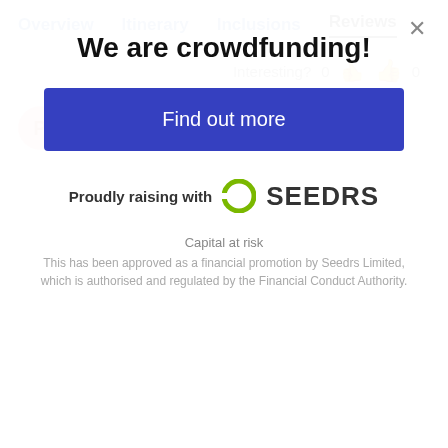Overview  Itinerary  Inclusions  Reviews
Interesting? 0  👎  👍 0
Philippe B ✓
We are crowdfunding!
Find out more
Proudly raising with SEEDRS
Capital at risk
This has been approved as a financial promotion by Seedrs Limited, which is authorised and regulated by the Financial Conduct Authority.